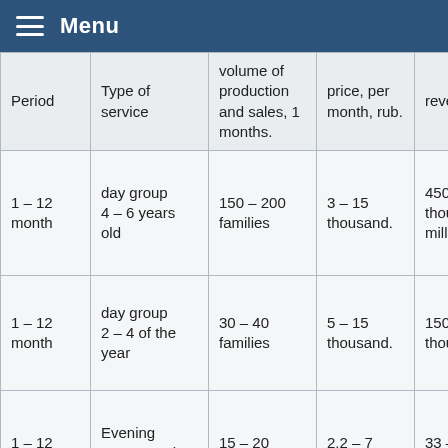Menu
| Period | Type of service | volume of production and sales, 1 months. | price, per month, rub. | revenue, rub. |
| --- | --- | --- | --- | --- |
| 1 – 12 month | day group 4 – 6 years old | 150 – 200 families | 3 – 15 thousand. | 450 thousand – 3 million. |
| 1 – 12 month | day group 2 – 4 of the year | 30 – 40 families | 5 – 15 thousand. | 150 – 600 thousand |
| 1 – 12 month | Evening groups and weekend | 15 – 20 families | 2,2 – 7 thousand. | 33 – 140 thousand |